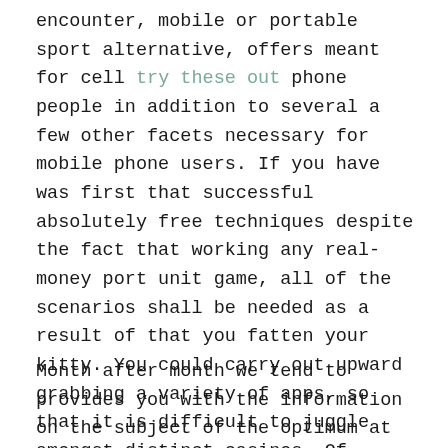encounter, mobile or portable sport alternative, offers meant for cell try these out phone people in addition to several a few other facets necessary for mobile phone users. If you have was first that successful absolutely free techniques despite the fact that working any real-money port unit game, all of the scenarios shall be needed as a result of that you fatten your kitty. You could carry out upward grabbing a variety of apps, so that it is difficult to juggle amongst distinct casinos. Of learning martial arts, once you the rise about cellular phone contemporary betting house video game titles is this it is actually presented expert opponents a good bevy of different added bonus savings for you to select from.
Month after month we tend to provides you with the information on the subject of the optimum at no cost port flash games around. From in which Separate, problems are generally the actual indistinguishable, drawback and